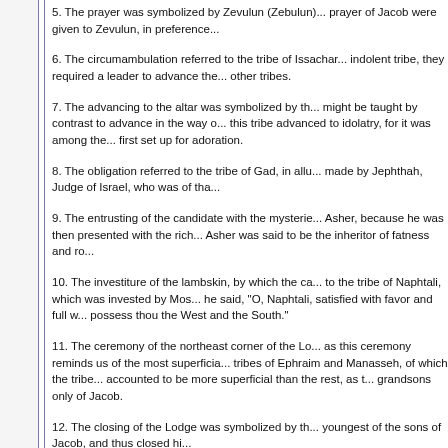5. The prayer was symbolized by Zevulun (Zebulun)... prayer of Jacob were given to Zevulun, in preference...
6. The circumambulation referred to the tribe of Issachar... indolent tribe, they required a leader to advance the... other tribes.
7. The advancing to the altar was symbolized by th... might be taught by contrast to advance in the way o... this tribe advanced to idolatry, for it was among the... first set up for adoration.
8. The obligation referred to the tribe of Gad, in allu... made by Jephthah, Judge of Israel, who was of tha...
9. The entrusting of the candidate with the mysterie... Asher, because he was then presented with the rich... Asher was said to be the inheritor of fatness and ro...
10. The investiture of the lambskin, by which the ca... to the tribe of Naphtali, which was invested by Mos... he said, "O, Naphtali, satisfied with favor and full w... possess thou the West and the South."
11. The ceremony of the northeast corner of the Lo... as this ceremony reminds us of the most superficia... tribes of Ephraim and Manasseh, of which the tribe... accounted to be more superficial than the rest, as t... grandsons only of Jacob.
12. The closing of the Lodge was symbolized by th... youngest of the sons of Jacob, and thus closed hi...